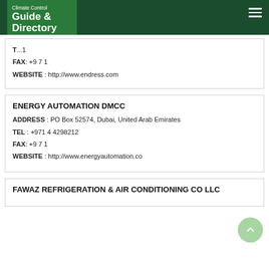Climate Control Guide & Directory
FAX: +971
WEBSITE: http://www.endress.com
ENERGY AUTOMATION DMCC
ADDRESS : PO Box 52574, Dubai, United Arab Emirates
TEL : +971 4 4298212
FAX: +971
WEBSITE : http://www.energyautomation.co
FAWAZ REFRIGERATION & AIR CONDITIONING CO LLC